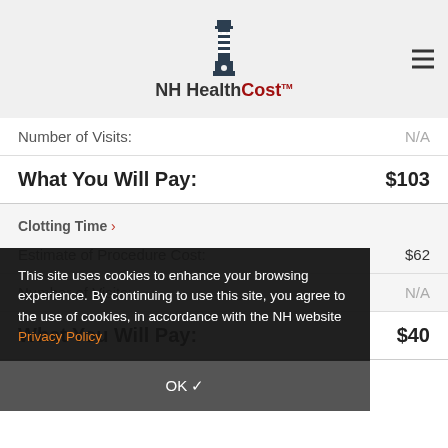[Figure (logo): NH HealthCost lighthouse logo with text]
Number of Visits: N/A
What You Will Pay: $103
Clotting Time >
Estimate of Procedure Cost: $62
Number of Visits: N/A
What You Will Pay: $40
This site uses cookies to enhance your browsing experience. By continuing to use this site, you agree to the use of cookies, in accordance with the NH website Privacy Policy
OK ✓